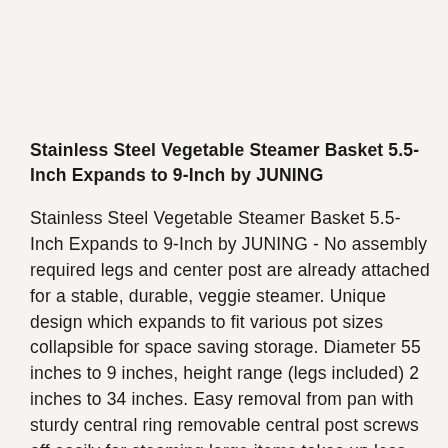Stainless Steel Vegetable Steamer Basket 5.5-Inch Expands to 9-Inch by JUNING
Stainless Steel Vegetable Steamer Basket 5.5-Inch Expands to 9-Inch by JUNING - No assembly required legs and center post are already attached for a stable, durable, veggie steamer. Unique design which expands to fit various pot sizes collapsible for space saving storage. Diameter 55 inches to 9 inches, height range (legs included) 2 inches to 34 inches. Easy removal from pan with sturdy central ring removable central post screws off easily for steaming large items takes up less space than bamboo steamers. A premium quality stainless steamer before 100% higher grade